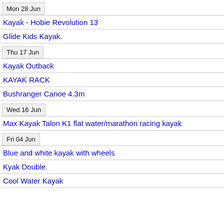Mon 28 Jun
Kayak - Hobie Revolution 13
Glide Kids Kayak.
Thu 17 Jun
Kayak Outback
KAYAK RACK
Bushranger Canoe 4.3m
Wed 16 Jun
Max Kayak Talon K1 flat water/marathon racing kayak
Fri 04 Jun
Blue and white kayak with wheels
Kyak Double.
Cool Water Kayak